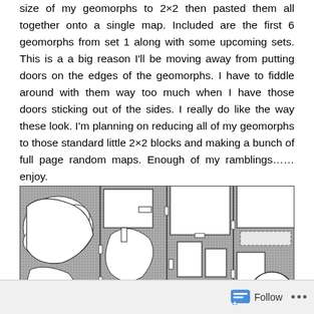size of my geomorphs to 2×2 then pasted them all together onto a single map. Included are the first 6 geomorphs from set 1 along with some upcoming sets. This is a a big reason I'll be moving away from putting doors on the edges of the geomorphs. I have to fiddle around with them way too much when I have those doors sticking out of the sides. I really do like the way these look. I'm planning on reducing all of my geomorphs to those standard little 2×2 blocks and making a bunch of full page random maps. Enough of my ramblings……enjoy.
[Figure (illustration): A dungeon map composed of multiple geomorph tiles arranged in a grid, showing rooms, corridors, cave-like areas with stippled texture indicating rock/walls, and white areas for open spaces. The map is black and white line art.]
Follow ···